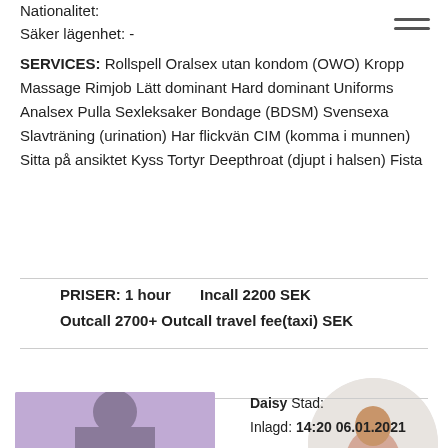Nationalitet:
Säker lägenhet: -
SERVICES: Rollspell Oralsex utan kondom (OWO) Kropp Massage Rimjob Lätt dominant Hard dominant Uniforms Analsex Pulla Sexleksaker Bondage (BDSM) Svensexa Slavträning (urination) Har flickvän CIM (komma i munnen) Sitta på ansiktet Kyss Tortyr Deepthroat (djupt i halsen) Fista
PRISER: 1 hour   Incall 2200 SEK
Outcall 2700+ Outcall travel fee(taxi) SEK
Prioritetsannons
[Figure (photo): Circular cropped photo of a woman]
[Figure (photo): Photo of a woman with purple-tinted background]
Daisy Stad:
Inlagd: 14:20 06.01.2021